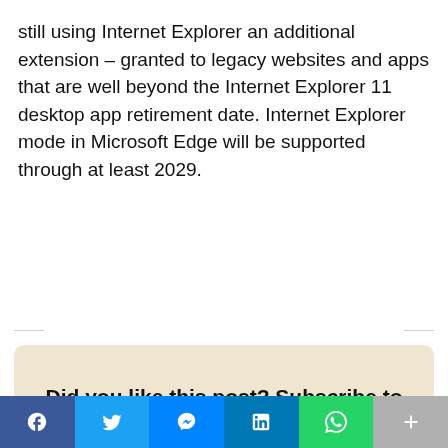still using Internet Explorer an additional extension – granted to legacy websites and apps that are well beyond the Internet Explorer 11 desktop app retirement date. Internet Explorer mode in Microsoft Edge will be supported through at least 2029.
Did you like this post? Subscribe to our Newsletter!
We don't spam, we will just send you a daily email with the best of our posts.
[Figure (infographic): Social sharing bar with Facebook, Twitter, Messenger, LinkedIn, WhatsApp, and a More (+) button]